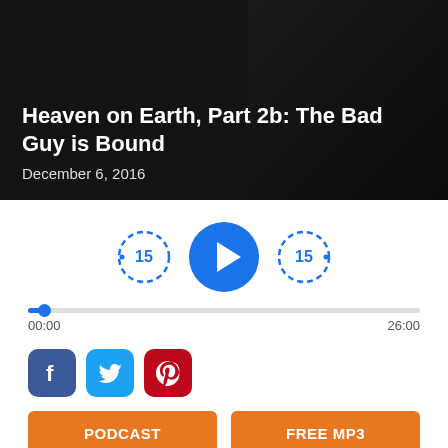Heaven on Earth, Part 2b: The Bad Guy is Bound
December 6, 2016
[Figure (other): Audio player with rewind 15s, play button, and forward 15s controls, with a progress bar showing 00:00 / 26:00]
[Figure (other): Social share icons: Facebook, Twitter, Pinterest]
[Figure (other): Two orange buttons: PODCAST and FREE MP3]
What is the bottomless pit that Revelation 20 speaks of? Is it the final hell or is it some intermediate place? Join Skip as he answers those questions in the message "Heaven on Earth, Part 2b: The Bad Guy is Bound."